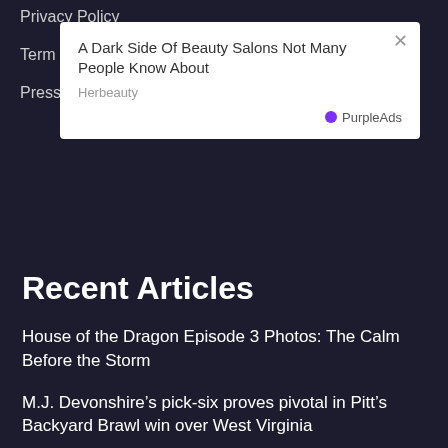Privacy Policy
Terms
Press
[Figure (other): Advertisement overlay with title 'A Dark Side Of Beauty Salons Not Many People Know About', source 'Herbeauty', branded by PurpleAds. White card with close button.]
Recent Articles
House of the Dragon Episode 3 Photos: The Calm Before the Storm
M.J. Devonshire's pick-six proves pivotal in Pitt's Backyard Brawl win over West Virginia
Good Trouble Season 4 Episode 18 Review: This Is Not My Beautiful Home
A Life With Derek Spin-Off Movie Is Happening: See the Behind-the-Scenes Pics
Serena Williams-Venus Williams doubles schedule: